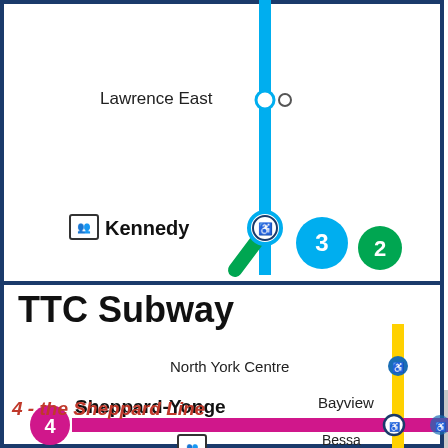[Figure (map): TTC subway map segment showing Line 3 (Scarborough RT) with Lawrence East and Kennedy stations, including interchange icons for lines 2 and 3, plus top of Line 4 Sheppard with Sheppard-Yonge, North York Centre, Bayview stations]
Lawrence East
Kennedy
4 - the Sheppard Line
TTC Subway
North York Centre
Bayview
Sheppard-Yonge
Bessa